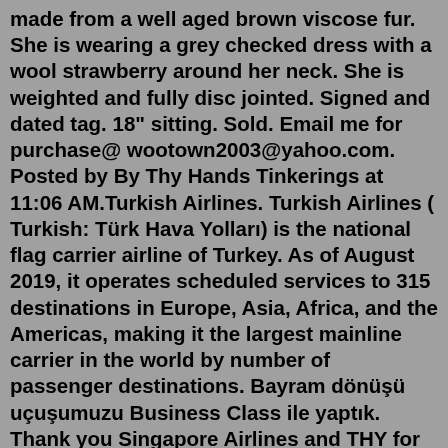made from a well aged brown viscose fur. She is wearing a grey checked dress with a wool strawberry around her neck. She is weighted and fully disc jointed. Signed and dated tag. 18" sitting. Sold. Email me for purchase@ wootown2003@yahoo.com. Posted by By Thy Hands Tinkerings at 11:06 AM.Turkish Airlines. Turkish Airlines ( Turkish: Türk Hava Yolları) is the national flag carrier airline of Turkey. As of August 2019, it operates scheduled services to 315 destinations in Europe, Asia, Africa, and the Americas, making it the largest mainline carrier in the world by number of passenger destinations. Bayram dönüşü uçuşumuzu Business Class ile yaptık. Thank you Singapore Airlines and THY for the trip.Bu vıdeo da müzik sesleri düzeltildVideoyu cekerken mikr... These are some of the most common requirements to open a business bank account. 1. Employer Identification Number (EIN) or Social Security Number (SSN) Most banks require business customers to ...THY HUYNH ) is An Student in an Occupied Health Care Education Training R...